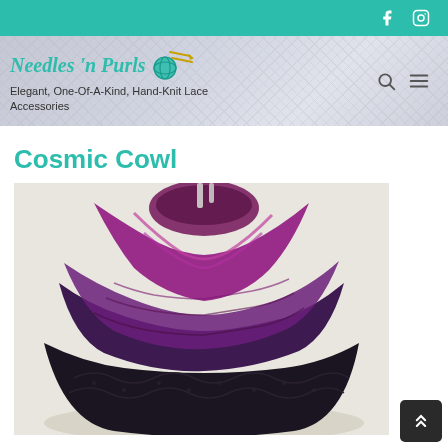Needles 'n Purls — Elegant, One-Of-A-Kind, Hand-Knit Lace Accessories
Cosmic Cowl
[Figure (photo): Photo of a knitted cowl scarf with purple/magenta tones at the top transitioning to dark charcoal/black at the bottom with lace pattern detail, displayed on a mannequin stand against a light background.]